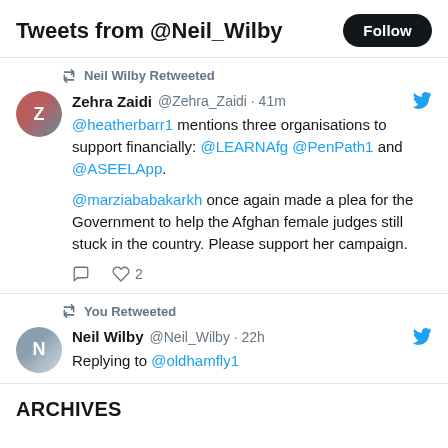Tweets from @Neil_Wilby
Neil Wilby Retweeted
Zehra Zaidi @Zehra_Zaidi · 41m
@heatherbarr1 mentions three organisations to support financially: @LEARNAfg @PenPath1 and @ASEELApp.

@marziababakarkh once again made a plea for the Government to help the Afghan female judges still stuck in the country. Please support her campaign.
You Retweeted
Neil Wilby @Neil_Wilby · 22h
Replying to @oldhamfly1
ARCHIVES